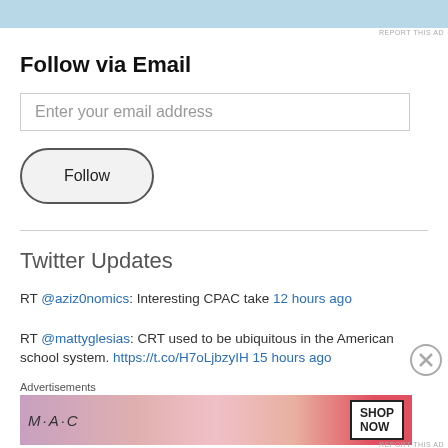[Figure (photo): Blue advertisement banner at top of page]
REPORT THIS AD
Follow via Email
Enter your email address
Follow
Twitter Updates
RT @aziz0nomics: Interesting CPAC take 12 hours ago
RT @mattyglesias: CRT used to be ubiquitous in the American school system. https://t.co/H7oLjbzyIH 15 hours ago
Advertisements
[Figure (photo): MAC cosmetics advertisement showing lipsticks with SHOP NOW text]